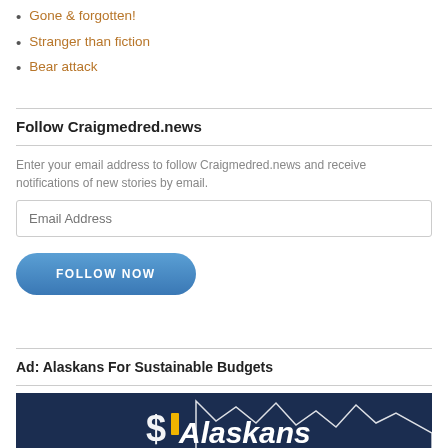Gone & forgotten!
Stranger than fiction
Bear attack
Follow Craigmedred.news
Enter your email address to follow Craigmedred.news and receive notifications of new stories by email.
Ad: Alaskans For Sustainable Budgets
[Figure (logo): Alaskans For Sustainable Budgets logo on dark navy background with mountain silhouette and stylized letter S]